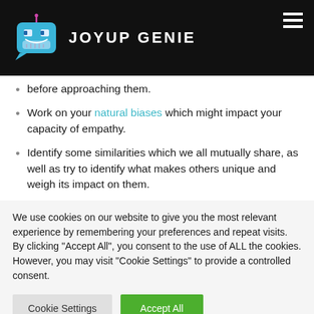[Figure (logo): Joyup Genie logo: blue robot face icon with antenna and chat bubble, white text JOYUP GENIE on dark/black header background]
before approaching them.
Work on your natural biases which might impact your capacity of empathy.
Identify some similarities which we all mutually share, as well as try to identify what makes others unique and weigh its impact on them.
We use cookies on our website to give you the most relevant experience by remembering your preferences and repeat visits. By clicking “Accept All”, you consent to the use of ALL the cookies. However, you may visit "Cookie Settings" to provide a controlled consent.